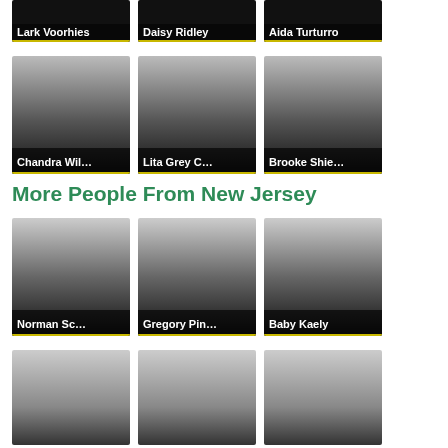[Figure (other): Partial card showing Lark Voorhies with dark background]
[Figure (other): Partial card showing Daisy Ridley with dark background]
[Figure (other): Partial card showing Aida Turturro with dark background]
[Figure (other): Card showing Chandra Wil... with gradient background]
[Figure (other): Card showing Lita Grey C... with gradient background]
[Figure (other): Card showing Brooke Shie... with gradient background]
More People From New Jersey
[Figure (other): Card showing Norman Sc... with gradient background]
[Figure (other): Card showing Gregory Pin... with gradient background]
[Figure (other): Card showing Baby Kaely with gradient background]
[Figure (other): Partial card row at bottom, three cards with no label visible]